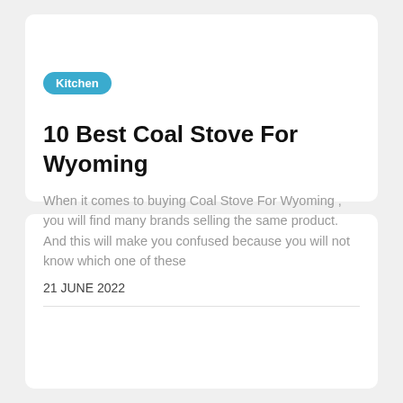Kitchen
10 Best Coal Stove For Wyoming
When it comes to buying Coal Stove For Wyoming , you will find many brands selling the same product. And this will make you confused because you will not know which one of these
21 JUNE 2022